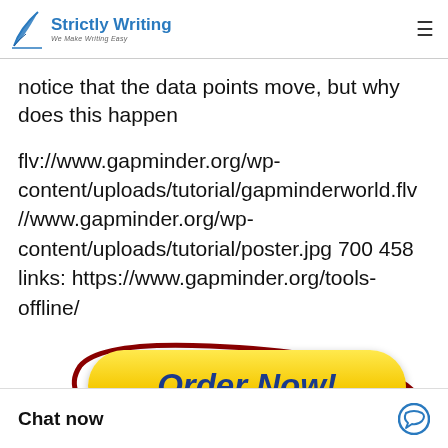Strictly Writing — We Make Writing Easy
notice that the data points move, but why does this happen
flv://www.gapminder.org/wp-content/uploads/tutorial/gapminderworld.flv //www.gapminder.org/wp-content/uploads/tutorial/poster.jpg 700 458 links: https://www.gapminder.org/tools-offline/
[Figure (other): Yellow 'Order Now!' button with dark red swirl decoration, PayPal and VISA payment badges below]
Chat now